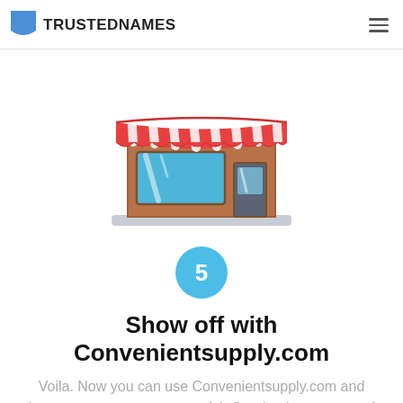TRUSTEDNAMES
[Figure (illustration): Flat illustration of a retail store front with red and white striped awning, large display window, and glass door on a sidewalk base.]
5
Show off with Convenientsupply.com
Voila. Now you can use Convenientsupply.com and become even more successful. Good to know: most of